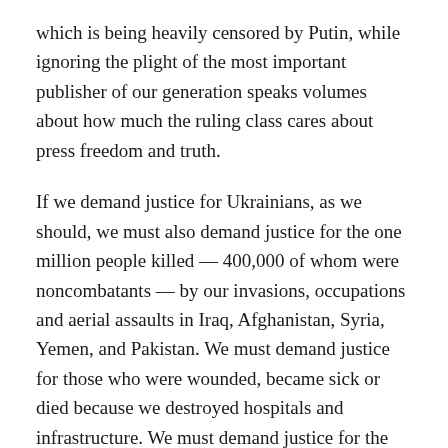which is being heavily censored by Putin, while ignoring the plight of the most important publisher of our generation speaks volumes about how much the ruling class cares about press freedom and truth.
If we demand justice for Ukrainians, as we should, we must also demand justice for the one million people killed — 400,000 of whom were noncombatants — by our invasions, occupations and aerial assaults in Iraq, Afghanistan, Syria, Yemen, and Pakistan. We must demand justice for those who were wounded, became sick or died because we destroyed hospitals and infrastructure. We must demand justice for the thousands of soldiers and marines who were killed, and many more who were wounded and are living with lifelong disabilities, in wars launched and sustained on lies. We must demand justice for the 38 million people